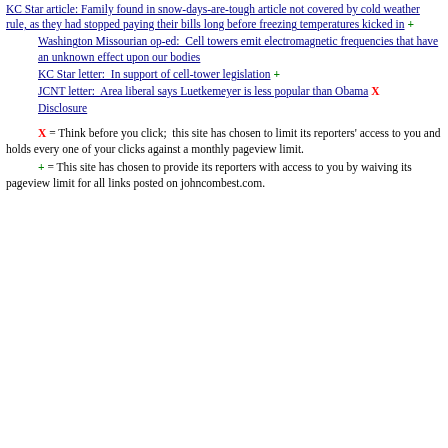KC Star article: Family found in snow-days-are-tough article not covered by cold weather rule, as they had stopped paying their bills long before freezing temperatures kicked in +
Washington Missourian op-ed: Cell towers emit electromagnetic frequencies that have an unknown effect upon our bodies
KC Star letter: In support of cell-tower legislation +
JCNT letter: Area liberal says Luetkemeyer is less popular than Obama X
Disclosure
X = Think before you click; this site has chosen to limit its reporters' access to you and holds every one of your clicks against a monthly pageview limit.
+ = This site has chosen to provide its reporters with access to you by waiving its pageview limit for all links posted on johncombest.com.